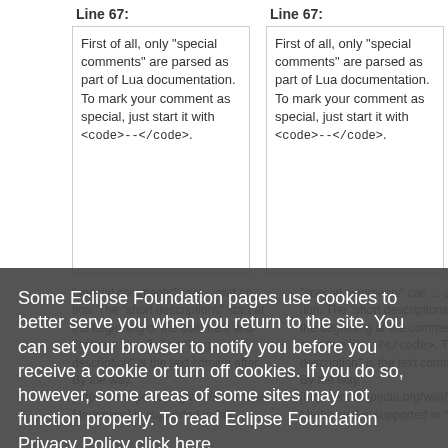Line 67:
First of all, only "special comments" are parsed as part of Lua documentation. To mark your comment as special, just start it with <code>--</code>.
Line 67:
First of all, only "special comments" are parsed as part of Lua documentation. To mark your comment as special, just start it with <code>--</code>.
Some Eclipse Foundation pages use cookies to better serve you when you return to the site. You can set your browser to notify you before you receive a cookie or turn off cookies. If you do so, however, some areas of some sites may not function properly. To read Eclipse Foundation Privacy Policy click here.
Decline
Allow cookies